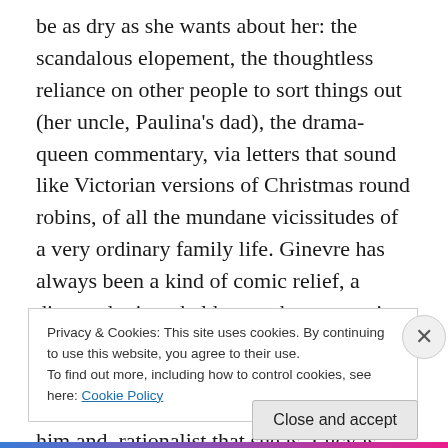be as dry as she wants about her: the scandalous elopement, the thoughtless reliance on other people to sort things out (her uncle, Paulina's dad), the drama-queen commentary, via letters that sound like Victorian versions of Christmas round robins, of all the mundane vicissitudes of a very ordinary family life. Ginevre has always been a kind of comic relief, a distorted mirror held up to the women in the novel who live their lives, well, properly. (The man she marries is the young puppy: the billet doux was from him and, rationalist that she is, Lucy is vindicated: the nun was him in disguise. The universe of
Privacy & Cookies: This site uses cookies. By continuing to use this website, you agree to their use.
To find out more, including how to control cookies, see here: Cookie Policy
Close and accept